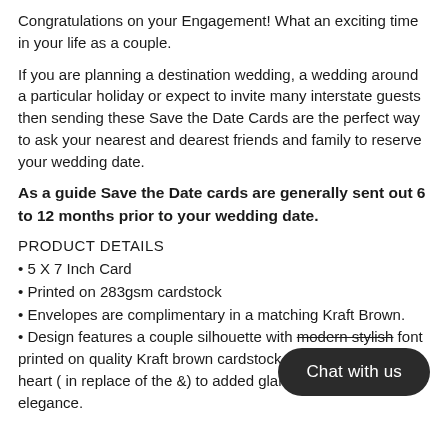Congratulations on your Engagement! What an exciting time in your life as a couple.
If you are planning a destination wedding, a wedding around a particular holiday or expect to invite many interstate guests then sending these Save the Date Cards are the perfect way to ask your nearest and dearest friends and family to reserve your wedding date.
As a guide Save the Date cards are generally sent out 6 to 12 months prior to your wedding date.
PRODUCT DETAILS
• 5 X 7 Inch Card
• Printed on 283gsm cardstock
• Envelopes are complimentary in a matching Kraft Brown.
• Design features a couple silhouette with modern stylish font printed on quality Kraft brown cardstock and a black glitter heart ( in replace of the &) to added glam and stylish elegance.